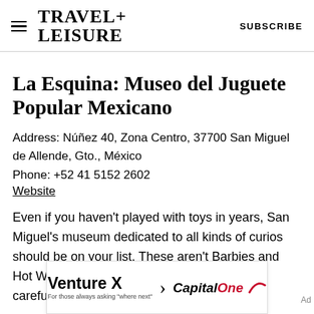TRAVEL+ LEISURE   SUBSCRIBE
La Esquina: Museo del Juguete Popular Mexicano
Address: Núñez 40, Zona Centro, 37700 San Miguel de Allende, Gto., México
Phone: +52 41 5152 2602
Website
Even if you haven't played with toys in years, San Miguel's museum dedicated to all kinds of curios should be on your list. These aren't Barbies and Hot Wheels, but handcrafted Ferris wheels, carefully
[Figure (screenshot): Advertisement banner for Capital One Venture X credit card. Text reads 'Venture X > Capital One For those always asking "where next"']